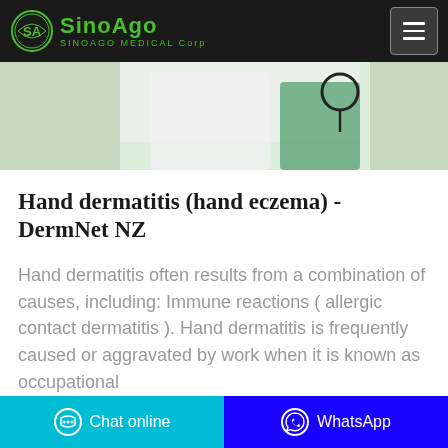SinoAgo Medical Corp
[Figure (photo): Partial view of a medical professional in white coat with green/teal equipment in background]
Hand dermatitis (hand eczema) - DermNet NZ
Hand dermatitis often results from a combination of causes, including: Immune reactions ( allergic contact dermatitis ). Hand dermatitis is frequently caused or aggravated by work when it is known as occupational
Chat online   WhatsApp